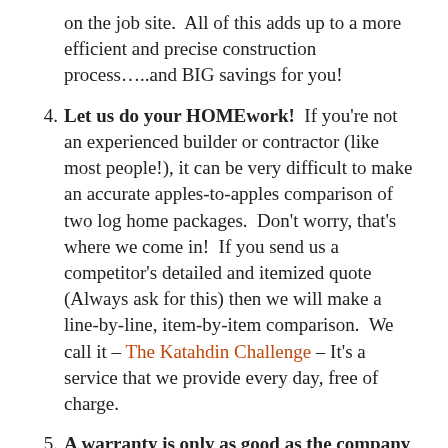on the job site.  All of this adds up to a more efficient and precise construction process…..and BIG savings for you!
Let us do your HOMEwork!  If you're not an experienced builder or contractor (like most people!), it can be very difficult to make an accurate apples-to-apples comparison of two log home packages.  Don't worry, that's where we come in!  If you send us a competitor's detailed and itemized quote (Always ask for this) then we will make a line-by-line, item-by-item comparison.  We call it – The Katahdin Challenge – It's a service that we provide every day, free of charge.
A warranty is only as good as the company that writes it. And in these turbulent times it's more important than ever to research the companies you're doing business with.  We